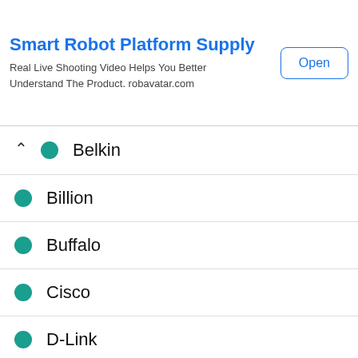[Figure (screenshot): Advertisement banner for Smart Robot Platform Supply from robavatar.com with an Open button]
Belkin
Billion
Buffalo
Cisco
D-Link
DIGISOL
EarthLink
EDIMAX
Gigabyte